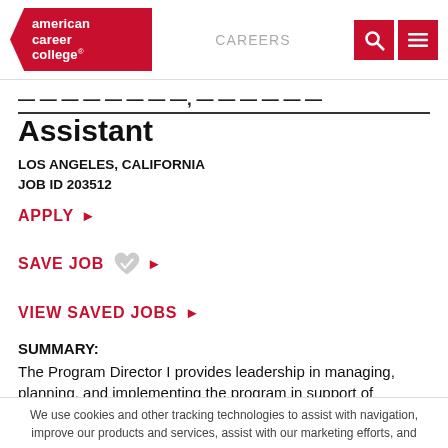american career college | CAREERS
Program Director, Medical Assistant
LOS ANGELES, CALIFORNIA
JOB ID 203512
APPLY ▸
SAVE JOB ▸
VIEW SAVED JOBS ▸
SUMMARY:
The Program Director I provides leadership in managing, planning, and implementing the program in support of
We use cookies and other tracking technologies to assist with navigation, improve our products and services, assist with our marketing efforts, and